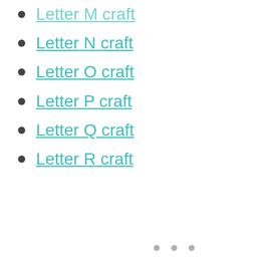Letter M craft
Letter N craft
Letter O craft
Letter P craft
Letter Q craft
Letter R craft
[Figure (photo): A light gray placeholder image box with three gray dots indicating a loading slideshow or image carousel]